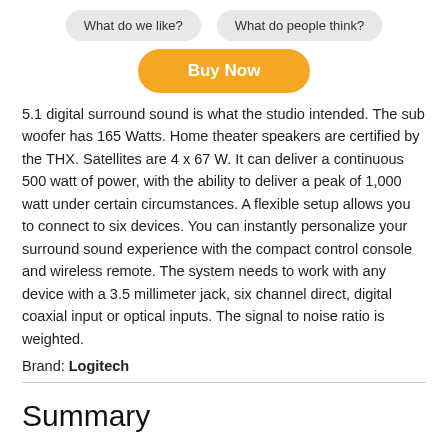What do we like?
What do people think?
Buy Now
5.1 digital surround sound is what the studio intended. The sub woofer has 165 Watts. Home theater speakers are certified by the THX. Satellites are 4 x 67 W. It can deliver a continuous 500 watt of power, with the ability to deliver a peak of 1,000 watt under certain circumstances. A flexible setup allows you to connect to six devices. You can instantly personalize your surround sound experience with the compact control console and wireless remote. The system needs to work with any device with a 3.5 millimeter jack, six channel direct, digital coaxial input or optical inputs. The signal to noise ratio is weighted.
Brand: Logitech
Summary